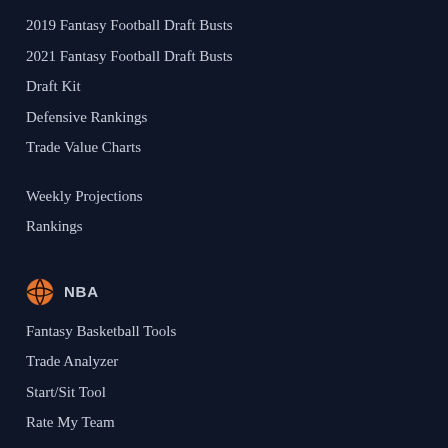2019 Fantasy Football Draft Busts
2021 Fantasy Football Draft Busts
Draft Kit
Defensive Rankings
Trade Value Charts
Weekly Projections
Rankings
NBA
Fantasy Basketball Tools
Trade Analyzer
Start/Sit Tool
Rate My Team
Fantasy Basketball Assistant
Fantasy Basketball Draft Assistant
Waiver Wire Pickups